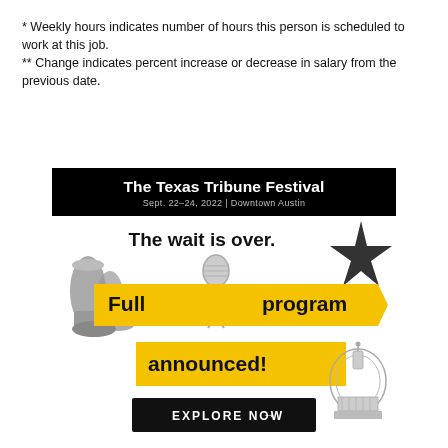* Weekly hours indicates number of hours this person is scheduled to work at this job.
** Change indicates percent increase or decrease in salary from the previous date.
[Figure (infographic): The Texas Tribune Festival advertisement. Black header bar reading 'The Texas Tribune Festival, Sept. 22-24, 2022 | Downtown Austin'. Below: text 'The wait is over.' with yellow arrow banners reading 'Full program announced!' and an 'EXPLORE NOW →' button. Decorative elements include cowboy boots, a microphone, a star, and the Texas Capitol dome.]